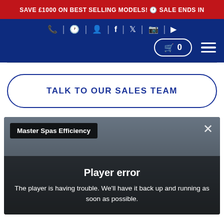SAVE £1000 ON BEST SELLING MODELS! 🕐 SALE ENDS IN
[Figure (screenshot): Navigation bar with dark blue background showing icons: phone, clock, user, Facebook, Twitter, Instagram, YouTube, plus a shopping cart button showing 0 items and a hamburger menu]
TALK TO OUR SALES TEAM
[Figure (screenshot): Video player embed showing 'Master Spas Efficiency' label in top left, close X button in top right, and a player error overlay reading 'Player error - The player is having trouble. We'll have it back up and running as soon as possible.' Background shows a blurred outdoor scene with flags and a building.]